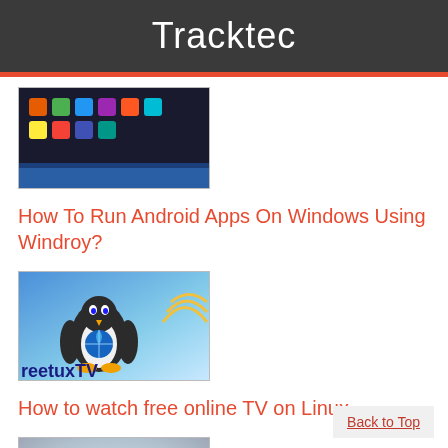Tracktec
[Figure (screenshot): Screenshot of Android app interface running on Windows with dark background and app icons]
How To Run Android Apps On Windows Using Windroy?
[Figure (screenshot): FreetuxTV logo with Linux penguin mascot on blue background]
How to watch free online TV on Linux
[Figure (photo): Abstract photo of bubbles or water droplets on a surface]
Back to Top